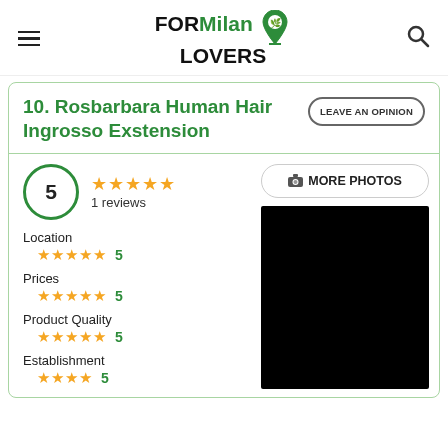FORMilan LOVERS
10. Rosbarbara Human Hair Ingrosso Exstension
LEAVE AN OPINION
5 — 1 reviews
MORE PHOTOS
Location
★★★★★ 5
Prices
★★★★★ 5
Product Quality
★★★★★ 5
Establishment
★★★★★ 5
[Figure (photo): Black photo placeholder image]